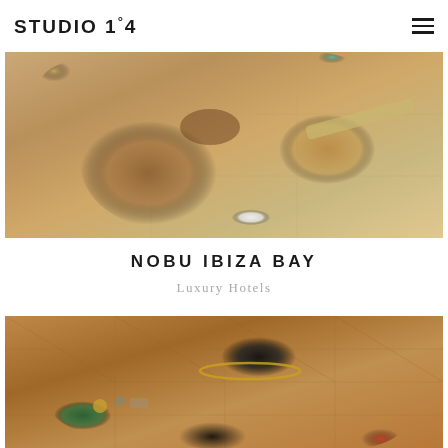STUDIO 1°4
[Figure (photo): Overhead flat-lay photo of tan/camel suede clothing items and white sneakers arranged on a light tile floor]
NOBU IBIZA BAY
Luxury Hotels
[Figure (photo): Overhead flat-lay photo of dark clothing, a black hat with gold band, a green hexagonal tray with accessories, and red accents on a herringbone wood floor]